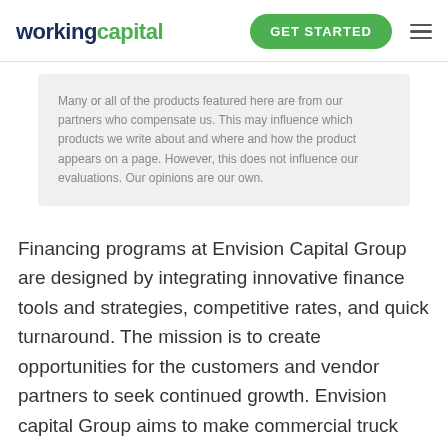workingcapital  GET STARTED
Many or all of the products featured here are from our partners who compensate us. This may influence which products we write about and where and how the product appears on a page. However, this does not influence our evaluations. Our opinions are our own.
Financing programs at Envision Capital Group are designed by integrating innovative finance tools and strategies, competitive rates, and quick turnaround. The mission is to create opportunities for the customers and vendor partners to seek continued growth. Envision capital Group aims to make commercial truck financing simple by creating tangible value and prospects for its